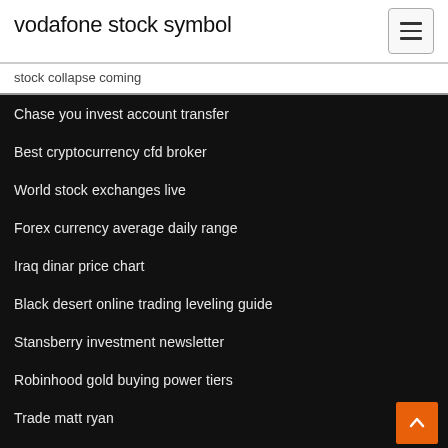vodafone stock symbol
stock collapse coming
Chase you invest account transfer
Best cryptocurrency cfd broker
World stock exchanges live
Forex currency average daily range
Iraq dinar price chart
Black desert online trading leveling guide
Stansberry investment newsletter
Robinhood gold buying power tiers
Trade matt ryan
Gold price analysis in uae